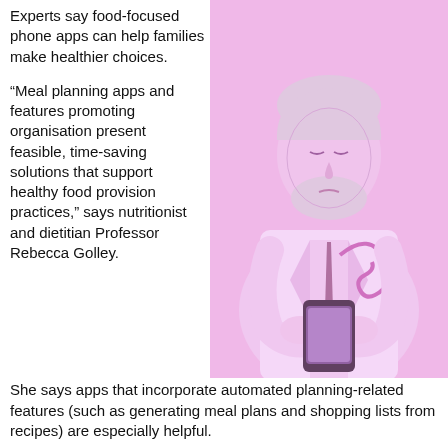Experts say food-focused phone apps can help families make healthier choices.
“Meal planning apps and features promoting organisation present feasible, time-saving solutions that support healthy food provision practices,” says nutritionist and dietitian Professor Rebecca Golley.
[Figure (photo): A pink/purple tinted photo of an elderly male doctor in a white coat with a stethoscope, looking down at a smartphone he is holding in both hands.]
She says apps that incorporate automated planning-related features (such as generating meal plans and shopping lists from recipes) are especially helpful.